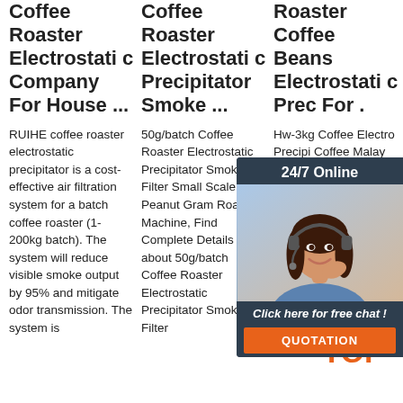Coffee Roaster Electrostatic Company For House ...
RUIHE coffee roaster electrostatic precipitator is a cost-effective air filtration system for a batch coffee roaster (1-200kg batch). The system will reduce visible smoke output by 95% and mitigate odor transmission. The system is
Coffee Roaster Electrostatic Precipitator Smoke ...
50g/batch Coffee Roaster Electrostatic Precipitator Smoke Filter Small Scale Peanut Gram Roasting Machine, Find Complete Details about 50g/batch Coffee Roaster Electrostatic Precipitator Smoke Filter
Roaster Coffee Beans Electrostatic Precipitator For ...
Hw-3kg Coffee Electrostatic Precipi Coffee Malaysia Compl about Hw-3kg Roaster Coffee Beans Electrostatic Precipitator For Coffee Roaster Malaysia Coffee
[Figure (photo): Chat widget with a woman wearing a headset, 24/7 online support banner, click here for free chat CTA, and QUOTATION button]